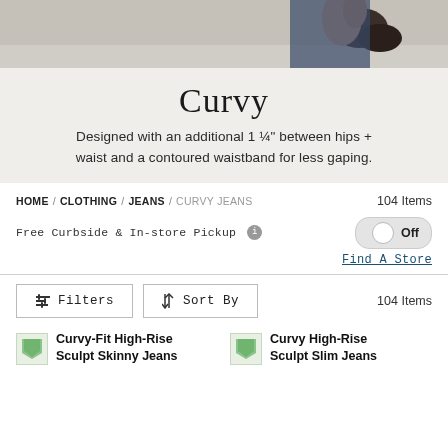[Figure (photo): Cropped photo of person wearing jeans, showing hands and dark shoes against a gray/beige background]
Curvy
Designed with an additional 1 ¼" between hips + waist and a contoured waistband for less gaping.
HOME / CLOTHING / JEANS / CURVY JEANS   104 Items
Free Curbside & In-store Pickup  ℹ  Off
Find A Store
Filters   Sort By   104 Items
Curvy-Fit High-Rise Sculpt Skinny Jeans
Curvy High-Rise Sculpt Slim Jeans